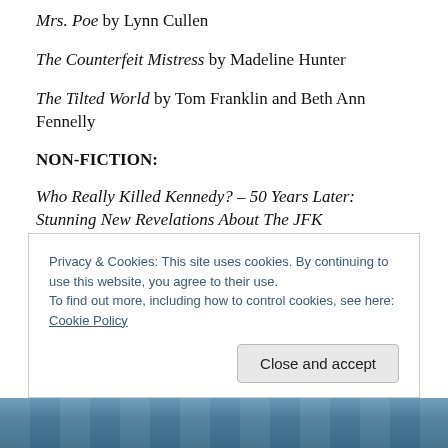Mrs. Poe by Lynn Cullen
The Counterfeit Mistress by Madeline Hunter
The Tilted World by Tom Franklin and Beth Ann Fennelly
NON-FICTION:
Who Really Killed Kennedy? – 50 Years Later: Stunning New Revelations About The JFK Assassination by Jerome R. Corsi
Where Were You? – America Remembers the JFK
Privacy & Cookies: This site uses cookies. By continuing to use this website, you agree to their use.
To find out more, including how to control cookies, see here: Cookie Policy
[Figure (photo): Blue tinted banner image at bottom of page, partially obscured by cookie banner]